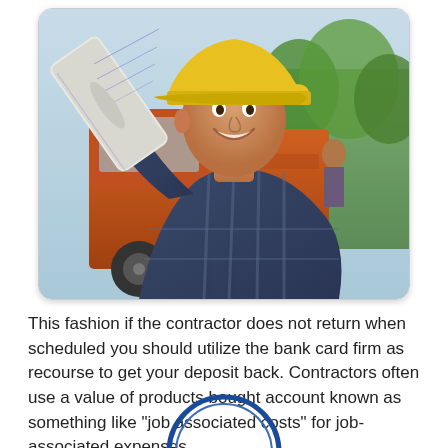[Figure (photo): A smiling construction worker wearing a yellow hard hat and blue plaid shirt, holding rolled-up blueprints. In the background is a large orange construction truck and trees.]
This fashion if the contractor does not return when scheduled you should utilize the bank card firm as recourse to get your deposit back. Contractors often use a value of products bought account known as something like “job associated costs” for job-associated expenses.
[Figure (illustration): Partial view of a circular logo or icon with a blue border, visible at the bottom of the page.]